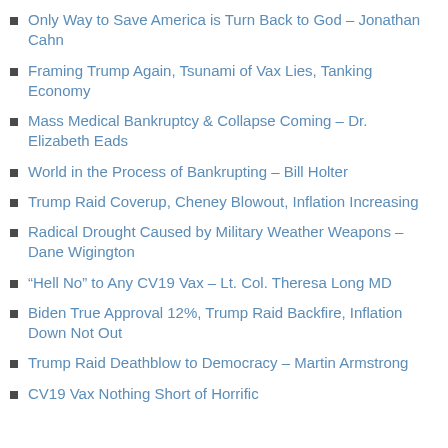Only Way to Save America is Turn Back to God – Jonathan Cahn
Framing Trump Again, Tsunami of Vax Lies, Tanking Economy
Mass Medical Bankruptcy & Collapse Coming – Dr. Elizabeth Eads
World in the Process of Bankrupting – Bill Holter
Trump Raid Coverup, Cheney Blowout, Inflation Increasing
Radical Drought Caused by Military Weather Weapons – Dane Wigington
“Hell No” to Any CV19 Vax – Lt. Col. Theresa Long MD
Biden True Approval 12%, Trump Raid Backfire, Inflation Down Not Out
Trump Raid Deathblow to Democracy – Martin Armstrong
CV19 Vax Nothing Short of Horrific